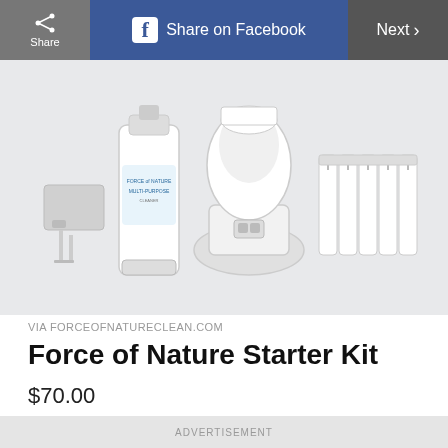Share | Share on Facebook | Next >
[Figure (photo): Force of Nature Starter Kit product photo showing a power adapter/charger, a spray bottle labeled 'Force of Nature Multi-Purpose Cleaner', an electrolyzer appliance base unit, and a set of small capsule/activator packets, all on a light gray background.]
VIA FORCEOFNATURECLEAN.COM
Force of Nature Starter Kit
$70.00
ADVERTISEMENT
[Figure (screenshot): Advertisement banner: Practical Money Skills. Prepare for your future. OPEN button on the right.]